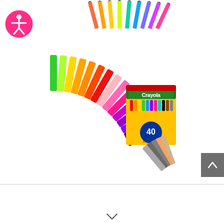[Figure (photo): Partial view of colored pencils fanned out at top of page]
[Figure (photo): Crayola Super Tips washable markers set of 40, shown with markers fanned out in a rainbow arc around the box]
[Figure (logo): Pink circular accessibility icon with person figure in center (wheelchair/accessibility symbol)]
[Figure (other): Gray scroll-to-top button with upward chevron arrow]
[Figure (other): Downward chevron/arrow at bottom of page indicating scroll down]